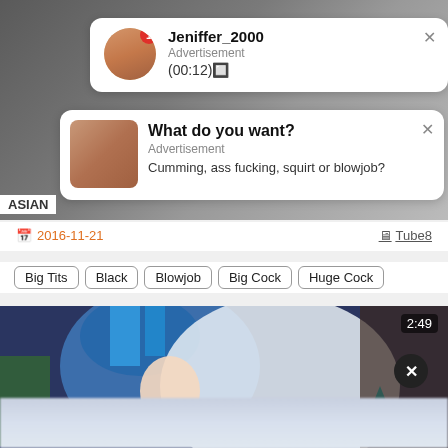[Figure (screenshot): Browser notification popup for Jeniffer_2000 advertisement with avatar, badge showing 1, username, 'Advertisement', and timestamp (00:12)]
[Figure (screenshot): Browser notification popup titled 'What do you want?' with adult advertisement content, avatar image, and close button]
ASIAN
2016-11-21   Tube8
Big Tits
Black
Blowjob
Big Cock
Huge Cock
[Figure (screenshot): Video thumbnail showing anime/hentai content with 2:49 timestamp and close button overlay]